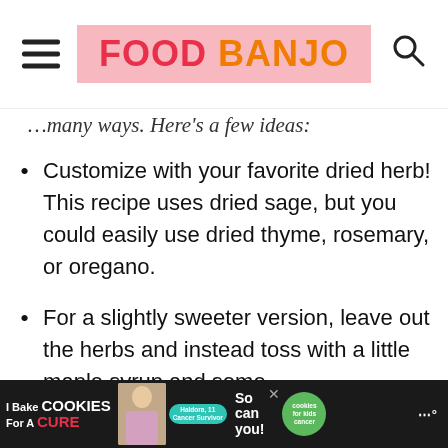FOOD BANJO
…many ways. Here's a few ideas:
Customize with your favorite dried herb! This recipe uses dried sage, but you could easily use dried thyme, rosemary, or oregano.
For a slightly sweeter version, leave out the herbs and instead toss with a little maple syrup and some
[Figure (screenshot): Advertisement banner: 'I Bake COOKIES For A CURE' with photo of girl, Haldora 11 Cancer Survivor badge, 'So can you!' text, cookies for kids cancer logo, and close button]